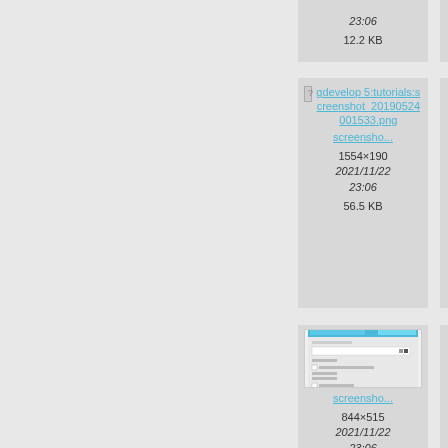23:06
12.2 KB
23:
20.
[Figure (screenshot): File card showing broken image icon with link: gdevelop 5:tutorials:screenshot_20190524001533.png, screensho..., 1554×190, 2021/11/22 23:06, 56.5 KB]
[Figure (screenshot): File card showing broken image icon with link: gd 5:tutorials:creen 0190: 448..., screen..., 70..., 2021/... 23..., 2.4...]
[Figure (screenshot): File card showing thumbnail of a dialog/settings UI, screensho..., 844×515, 2021/11/22 23:06]
[Figure (screenshot): File card showing broken image icon with link: gd 5:tuto creen 0190: 730..., screen..., 581..., 2021...]